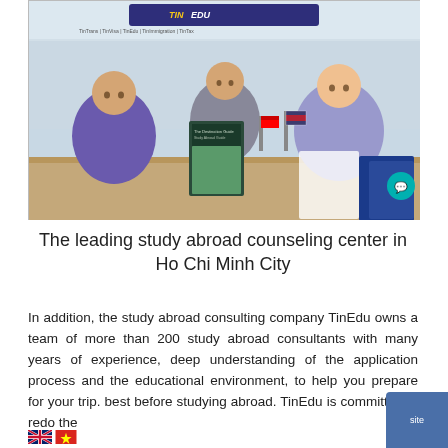[Figure (photo): Photo of three people seated at a desk in a TinEdu office. A sign on the wall behind them reads 'TinEdu' and lists services: TinTrans, TinVisa, TinEdu, TinImmigration, TinTax. Flags are visible on the desk. The person in the center holds up a brochure. A teal chat button is visible in the bottom right corner.]
The leading study abroad counseling center in Ho Chi Minh City
In addition, the study abroad consulting company TinEdu owns a team of more than 200 study abroad consultants with many years of experience, deep understanding of the application process and the educational environment, to help you prepare for your trip. best before studying abroad. TinEdu is committed to redo the